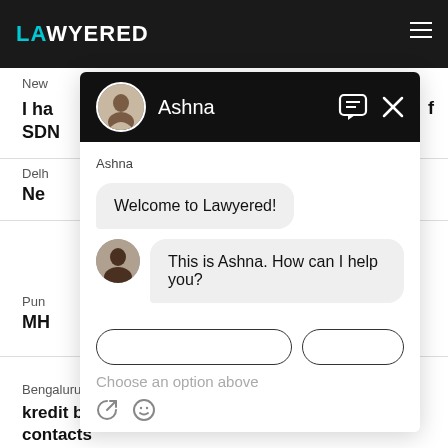[Figure (screenshot): Lawyered website with chat overlay showing conversation with Ashna. Background shows news items. Chat bubble says 'Welcome to Lawyered!' and 'This is Ashna. How can I help you?' with input field showing 'Choose an option above'.]
New
I ha
SDN
Delh
Ne
Pun
MH
Bengaluru,  25 May, 2022,  (3 months, 1 week ago)
kredit bee executive has reached my reference contacts